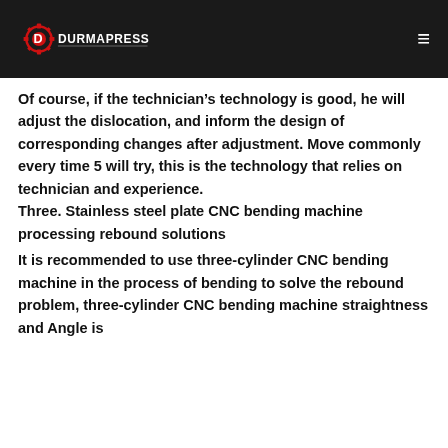DURMAPRESS
Of course, if the technician's technology is good, he will adjust the dislocation, and inform the design of corresponding changes after adjustment. Move commonly every time 5 will try, this is the technology that relies on technician and experience.
Three. Stainless steel plate CNC bending machine processing rebound solutions
It is recommended to use three-cylinder CNC bending machine in the process of bending to solve the rebound problem, three-cylinder CNC bending machine straightness and Angle is